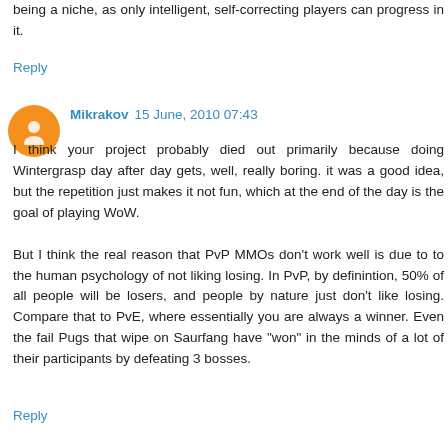being a niche, as only intelligent, self-correcting players can progress in it.
Reply
Mikrakov  15 June, 2010 07:43
I think your project probably died out primarily because doing Wintergrasp day after day gets, well, really boring. it was a good idea, but the repetition just makes it not fun, which at the end of the day is the goal of playing WoW.

But I think the real reason that PvP MMOs don't work well is due to to the human psychology of not liking losing. In PvP, by definintion, 50% of all people will be losers, and people by nature just don't like losing. Compare that to PvE, where essentially you are always a winner. Even the fail Pugs that wipe on Saurfang have "won" in the minds of a lot of their participants by defeating 3 bosses.
Reply